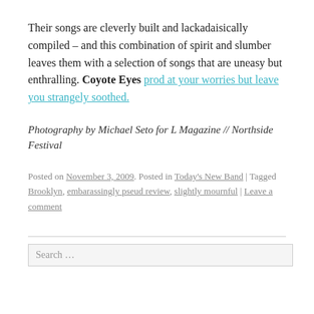Their songs are cleverly built and lackadaisically compiled – and this combination of spirit and slumber leaves them with a selection of songs that are uneasy but enthralling. Coyote Eyes prod at your worries but leave you strangely soothed.
Photography by Michael Seto for L Magazine // Northside Festival
Posted on November 3, 2009. Posted in Today's New Band | Tagged Brooklyn, embarassingly pseud review, slightly mournful | Leave a comment